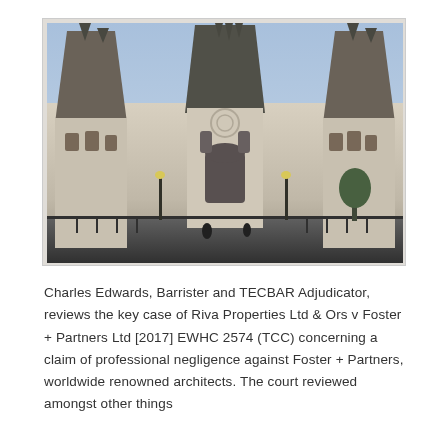[Figure (photo): Photograph of a Gothic-style court building (Royal Courts of Justice, London) with ornate stone facade, pointed towers and spires, arched windows and doorways, street-level iron railings and trees, blue sky above.]
Charles Edwards, Barrister and TECBAR Adjudicator, reviews the key case of Riva Properties Ltd & Ors v Foster + Partners Ltd [2017] EWHC 2574 (TCC) concerning a claim of professional negligence against Foster + Partners, worldwide renowned architects. The court reviewed amongst other things